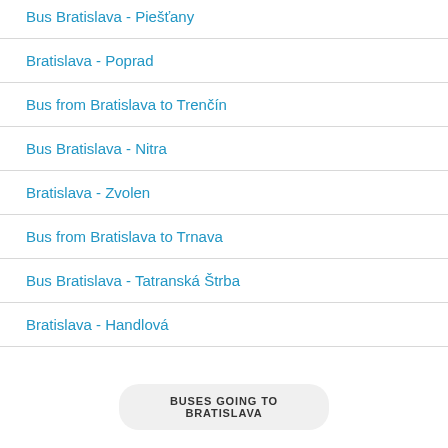Bus Bratislava - Piešťany
Bratislava - Poprad
Bus from Bratislava to Trenčín
Bus Bratislava - Nitra
Bratislava - Zvolen
Bus from Bratislava to Trnava
Bus Bratislava - Tatranská Štrba
Bratislava - Handlová
BUSES GOING TO BRATISLAVA